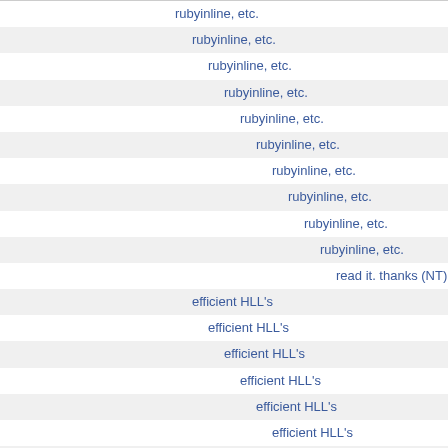rubyinline, etc.
rubyinline, etc.
rubyinline, etc.
rubyinline, etc.
rubyinline, etc.
rubyinline, etc.
rubyinline, etc.
rubyinline, etc.
rubyinline, etc.
rubyinline, etc.
read it. thanks (NT)
efficient HLL's
efficient HLL's
efficient HLL's
efficient HLL's
efficient HLL's
efficient HLL's
efficient HLL's
efficient HLL's
And the links..
And the links..